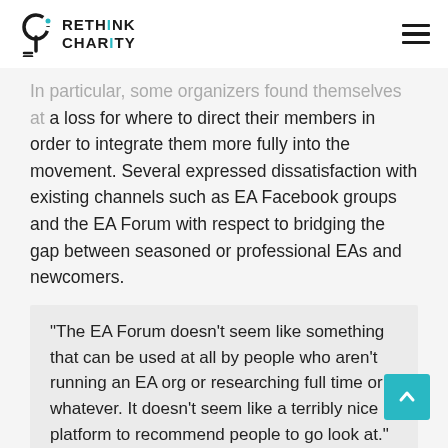RETHINK CHARITY
In particular, some organizers found themselves at a loss for where to direct their members in order to integrate them more fully into the movement. Several expressed dissatisfaction with existing channels such as EA Facebook groups and the EA Forum with respect to bridging the gap between seasoned or professional EAs and newcomers.
“The EA Forum doesn’t seem like something that can be used at all by people who aren’t running an EA org or researching full time or whatever. It doesn’t seem like a terribly nice platform to recommend people to go look at.”
DIRECT ACTION
A related but distinct concern from respondents